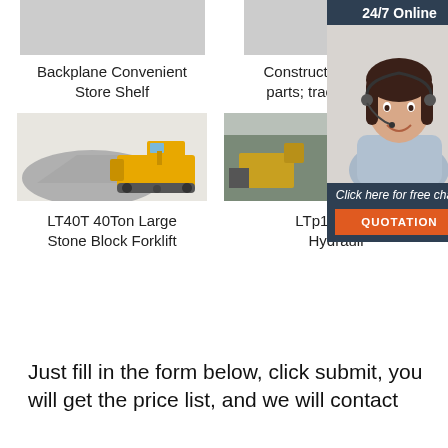[Figure (photo): Backplane Convenient Store Shelf product image (gray placeholder)]
Backplane Convenient Store Shelf
[Figure (photo): Construction machine parts; tractor&engine product image (gray placeholder)]
Construction machine parts; tractor&engine
[Figure (photo): LT40T 40Ton Large Stone Block Forklift - bulldozer/forklift machine image]
LT40T 40Ton Large Stone Block Forklift
[Figure (photo): LTp1016H/1 Hydraulic construction machine image]
LTp1016H/1 Hydrauli
[Figure (infographic): 24/7 Online chat widget with customer service representative photo, 'Click here for free chat!' text, and QUOTATION button]
Just fill in the form below, click submit, you will get the price list, and we will contact